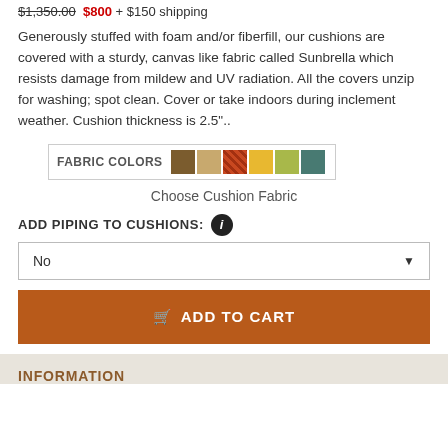$1,350.00  $800 + $150 shipping
Generously stuffed with foam and/or fiberfill, our cushions are covered with a sturdy, canvas like fabric called Sunbrella which resists damage from mildew and UV radiation. All the covers unzip for washing; spot clean. Cover or take indoors during inclement weather. Cushion thickness is 2.5"..
[Figure (other): Fabric color swatches selector labeled FABRIC COLORS with 6 color swatches: brown, tan, orange/red, yellow, light green, teal/blue-green]
Choose Cushion Fabric
ADD PIPING TO CUSHIONS:
No
ADD TO CART
INFORMATION